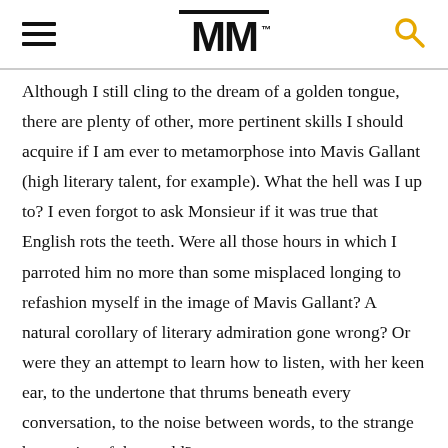MM
Although I still cling to the dream of a golden tongue, there are plenty of other, more pertinent skills I should acquire if I am ever to metamorphose into Mavis Gallant (high literary talent, for example). What the hell was I up to? I even forgot to ask Monsieur if it was true that English rots the teeth. Were all those hours in which I parroted him no more than some misplaced longing to refashion myself in the image of Mavis Gallant? A natural corollary of literary admiration gone wrong? Or were they an attempt to learn how to listen, with her keen ear, to the undertone that thrums beneath every conversation, to the noise between words, to the strange harmonics of the world?